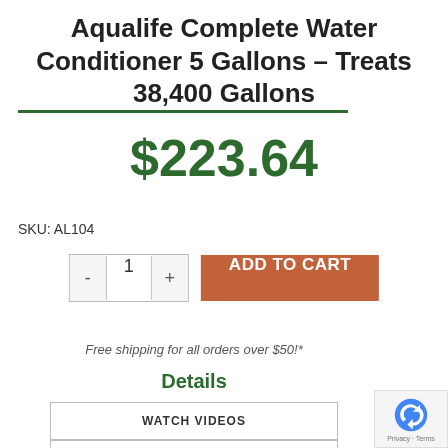Aqualife Complete Water Conditioner 5 Gallons – Treats 38,400 Gallons
$223.64
SKU: AL104
Free shipping for all orders over $50!*
Details
WATCH VIDEOS
DOWNLOAD PDFS